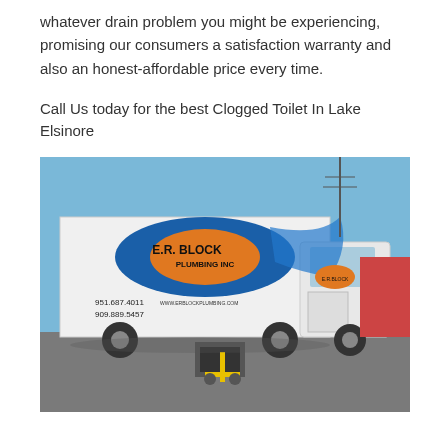whatever drain problem you might be experiencing, promising our consumers a satisfaction warranty and also an honest-affordable price every time.
Call Us today for the best Clogged Toilet In Lake Elsinore
[Figure (photo): E.R. Block Plumbing Inc. service truck (white box truck with company branding showing phone numbers 951.687.4011 and 909.889.5457, and website www.erblockplumbing.com) parked in a lot with plumbing inspection equipment in front.]